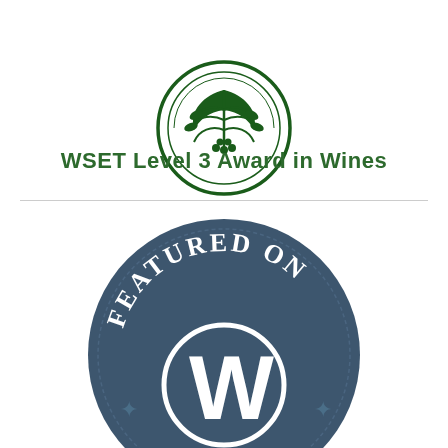[Figure (logo): WSET Level 3 Award in Wines circular logo with green vine/grape design on white background]
WSET Level 3 Award in Wines
[Figure (logo): Featured on WordPress circular badge with dark slate blue background, white text 'FEATURED ON' arched at top, and large white WordPress 'W' logo in center]